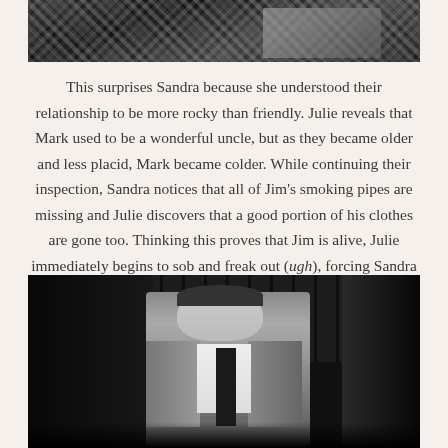[Figure (photo): Top portion of a black and white photograph, showing what appears to be a houndstooth or checkered fabric pattern]
This surprises Sandra because she understood their relationship to be more rocky than friendly. Julie reveals that Mark used to be a wonderful uncle, but as they became older and less placid, Mark became colder. While continuing their inspection, Sandra notices that all of Jim's smoking pipes are missing and Julie discovers that a good portion of his clothes are gone too. Thinking this proves that Jim is alive, Julie immediately begins to sob and freak out (ugh), forcing Sandra to once again be the calm, rational one.
[Figure (photo): Black and white photograph of a man in a suit with a dark tie, looking downward, standing in what appears to be a room with bookshelves or dark paneling in the background]